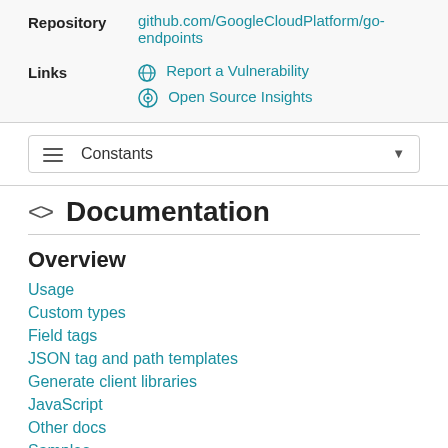Repository   github.com/GoogleCloudPlatform/go-endpoints
Links   Report a Vulnerability
   Open Source Insights
☰  Constants
<> Documentation
Overview
Usage
Custom types
Field tags
JSON tag and path templates
Generate client libraries
JavaScript
Other docs
Samples